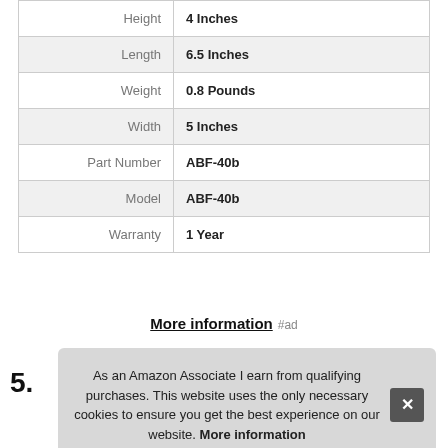| Attribute | Value |
| --- | --- |
| Height | 4 Inches |
| Length | 6.5 Inches |
| Weight | 0.8 Pounds |
| Width | 5 Inches |
| Part Number | ABF-40b |
| Model | ABF-40b |
| Warranty | 1 Year |
More information #ad
As an Amazon Associate I earn from qualifying purchases. This website uses the only necessary cookies to ensure you get the best experience on our website. More information
5.